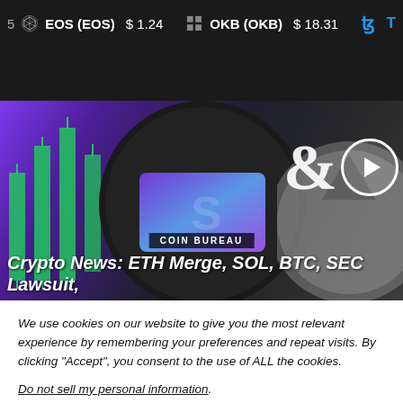5  EOS (EOS)  $1.24    OKB (OKB)  $18.31   T
[Figure (screenshot): Crypto news video thumbnail showing Coin Bureau channel with ETH Merge, SOL, BTC, SEC Lawsuit headline and green candlestick charts, Solana coin graphic, play button with ampersand symbol]
We use cookies on our website to give you the most relevant experience by remembering your preferences and repeat visits. By clicking “Accept”, you consent to the use of ALL the cookies.
Do not sell my personal information.
Cookie settings   ACCEPT